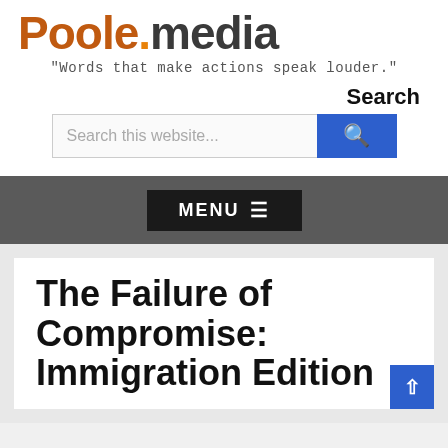Poole.media
"Words that make actions speak louder."
Search
Search this website...
MENU ☰
The Failure of Compromise: Immigration Edition